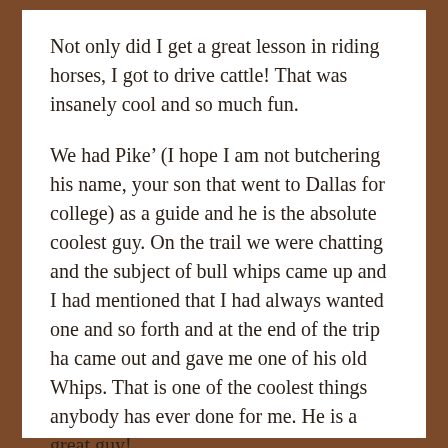Not only did I get a great lesson in riding horses, I got to drive cattle! That was insanely cool and so much fun.
We had Pike’ (I hope I am not butchering his name, your son that went to Dallas for college) as a guide and he is the absolute coolest guy. On the trail we were chatting and the subject of bull whips came up and I had mentioned that I had always wanted one and so forth and at the end of the trip ha came out and gave me one of his old Whips. That is one of the coolest things anybody has ever done for me. He is a great guy!